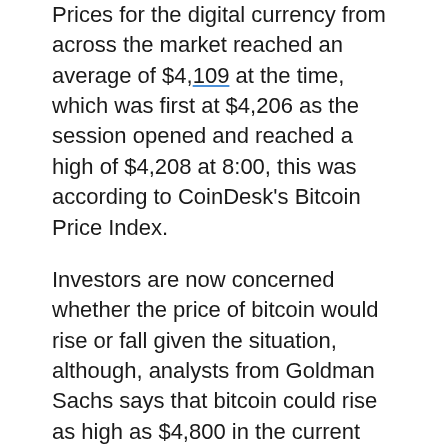Prices for the digital currency from across the market reached an average of $4,109 at the time, which was first at $4,206 as the session opened and reached a high of $4,208 at 8:00, this was according to CoinDesk's Bitcoin Price Index.
Investors are now concerned whether the price of bitcoin would rise or fall given the situation, although, analysts from Goldman Sachs says that bitcoin could rise as high as $4,800 in the current market.
In other news, the new digital currency alternative, Bitcoin Cash, sets its all-time high which was pinned at $1,091 in the session. These briefly caught observers off guard according to the data collected from the Coin Market.
Since being created in a fork of the bitcoin blockchain on August 1, Bitcoin Cash prices has been for the greater part and is trading steady around $300.